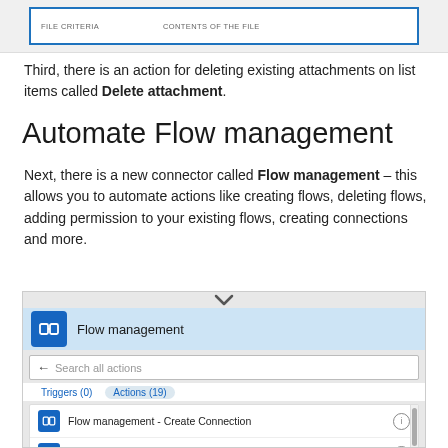[Figure (screenshot): Top portion of a table/list UI with blue border, showing column headers cut off at top of page]
Third, there is an action for deleting existing attachments on list items called Delete attachment.
Automate Flow management
Next, there is a new connector called Flow management – this allows you to automate actions like creating flows, deleting flows, adding permission to your existing flows, creating connections and more.
[Figure (screenshot): Screenshot of Flow management connector panel showing connector header with blue icon, search bar, Triggers (0) and Actions (19) tabs, and list of actions including Flow management - Create Connection, Flow management - Create Flow, Flow management - Delete Flow (partially visible)]